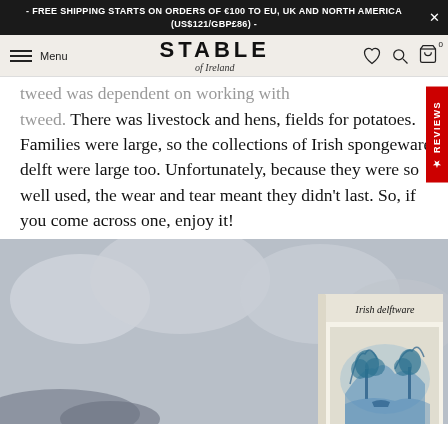- FREE SHIPPING STARTS ON ORDERS OF €100 TO EU, UK AND NORTH AMERICA (US$121/GBP£86) -
STABLE of Ireland — Menu, navigation icons
tweed. There was livestock and hens, fields for potatoes. Families were large, so the collections of Irish spongeware delft were large too. Unfortunately, because they were so well used, the wear and tear meant they didn't last. So, if you come across one, enjoy it!
[Figure (photo): A book titled 'Irish delftware' shown against a grey cloudy background. The book cover features a blue-and-white delftware scene with trees and landscape.]